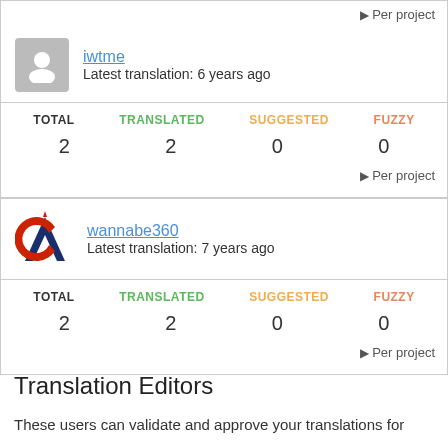▶ Per project
[Figure (illustration): User avatar placeholder (grey silhouette icon)]
iwtme
Latest translation: 6 years ago
| TOTAL | TRANSLATED | SUGGESTED | FUZZY |
| --- | --- | --- | --- |
| 2 | 2 | 0 | 0 |
▶ Per project
[Figure (logo): wannabe360 user avatar logo (stylized AC letters in blue and red)]
wannabe360
Latest translation: 7 years ago
| TOTAL | TRANSLATED | SUGGESTED | FUZZY |
| --- | --- | --- | --- |
| 2 | 2 | 0 | 0 |
▶ Per project
Translation Editors
These users can validate and approve your translations for